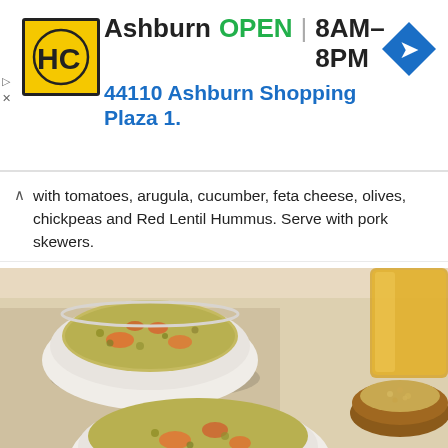[Figure (infographic): Harris Cruchef (HC) store ad banner with yellow/black logo, showing Ashburn location OPEN 8AM-8PM, address 44110 Ashburn Shopping Plaza 1., blue navigation arrow icon on right]
with tomatoes, arugula, cucumber, feta cheese, olives, chickpeas and Red Lentil Hummus. Serve with pork skewers.
Nutritional information per serving: 505 calories; 28 g total fat (8 g saturated fat); 14 mg cholesterol; 528 mg sodium; 43 g total carbohydrates (8 g dietary fiber, 6 g sugars); 23 g protein; 1% vitamin D; 15% calcium; 19% iron; 16% potassium; 361 mg phosphorus (29%).
[Figure (photo): Two white ceramic bowls of lentil/grain soup with vegetables including orange carrots and green lentils, on a light beige linen cloth. A yellow glass and a small brown wooden bowl with grains visible in background on right.]